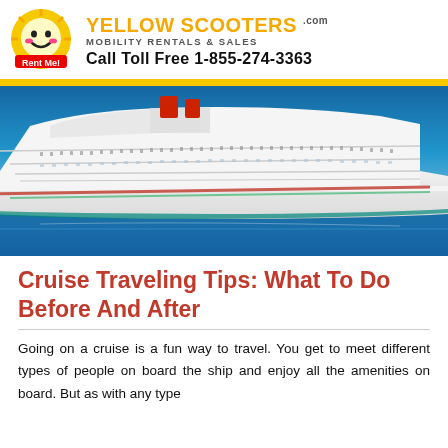YELLOW SCOOTERS .com MOBILITY RENTALS & SALES Call Toll Free 1-855-274-3363
[Figure (photo): Large white cruise ship sailing on blue water under a blue sky, viewed from the side-front angle.]
Cruise Traveling Tips: What To Do Before And After
Going on a cruise is a fun way to travel. You get to meet different types of people on board the ship and enjoy all the amenities on board. But as with any type